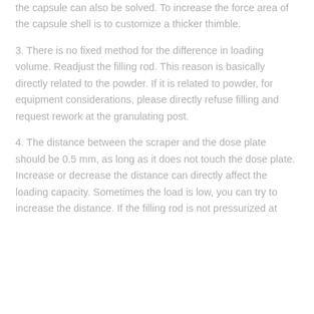the capsule can also be solved. To increase the force area of the capsule shell is to customize a thicker thimble.
3. There is no fixed method for the difference in loading volume. Readjust the filling rod. This reason is basically directly related to the powder. If it is related to powder, for equipment considerations, please directly refuse filling and request rework at the granulating post.
4. The distance between the scraper and the dose plate should be 0.5 mm, as long as it does not touch the dose plate. Increase or decrease the distance can directly affect the loading capacity. Sometimes the load is low, you can try to increase the distance. If the filling rod is not pressurized at